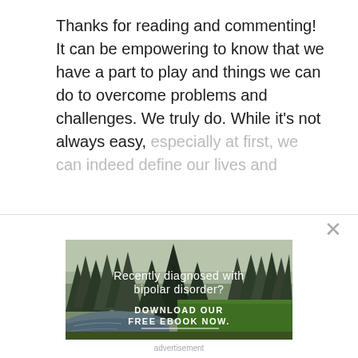Thanks for reading and commenting! It can be empowering to know that we have a part to play and things we can do to overcome problems and challenges. We truly do. While it's not always easy, especially at first, we can indeed define our lives and
[Figure (photo): Advertisement banner showing a forest scene with evergreen trees and a stream/path. White text overlay reads 'Recently diagnosed with bipolar disorder?' and 'DOWNLOAD OUR FREE EBOOK NOW.' with a white underline.]
advertisement